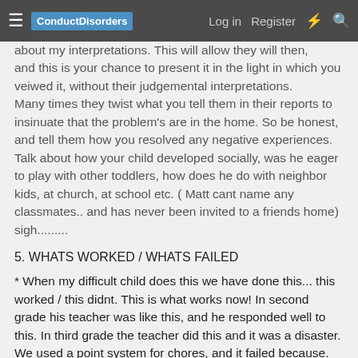ConductDisorders  Log in  Register
about my interpretations. This will allow they will then, and this is your chance to present it in the light in which you veiwed it, without their judgemental interpretations. Many times they twist what you tell them in their reports to insinuate that the problem's are in the home. So be honest, and tell them how you resolved any negative experiences. Talk about how your child developed socially, was he eager to play with other toddlers, how does he do with neighbor kids, at church, at school etc. ( Matt cant name any classmates.. and has never been invited to a friends home) sigh.........
5. WHATS WORKED / WHATS FAILED
* When my difficult child does this we have done this... this worked / this didnt. This is what works now! In second grade his teacher was like this, and he responded well to this. In third grade the teacher did this and it was a disaster. We used a point system for chores, and it failed because. We